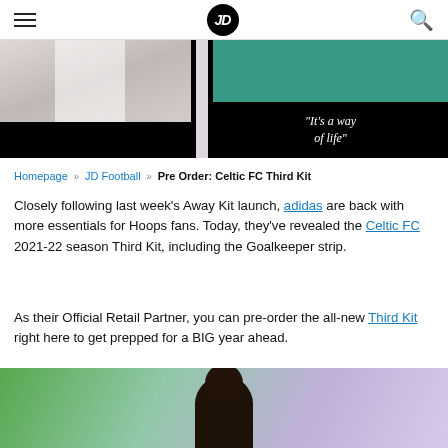JD Sports navigation bar with hamburger menu, JD logo, and search icon
[Figure (photo): Hero image strip showing two panels: left panel with a white jersey and black border, right panel with teal background and text 'It's a way of life' on a black bar]
Homepage » JD Football » Pre Order: Celtic FC Third Kit
Closely following last week's Away Kit launch, adidas are back with more essentials for Hoops fans. Today, they've revealed the Celtic FC 2021-22 season Third Kit, including the Goalkeeper strip.
As their Official Retail Partner, you can pre-order the all-new Third Kit right here to get prepped for a BIG year ahead.
[Figure (photo): Photo of a person wearing the Celtic FC Third Kit against a green and purple gradient background]